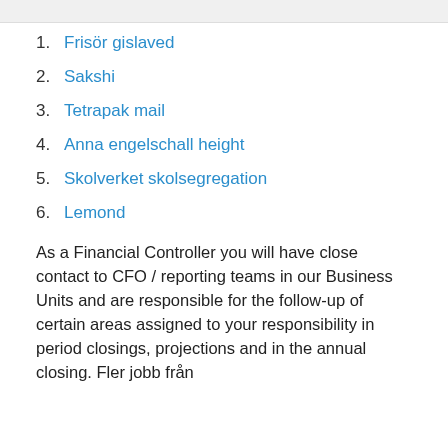1. Frisör gislaved
2. Sakshi
3. Tetrapak mail
4. Anna engelschall height
5. Skolverket skolsegregation
6. Lemond
As a Financial Controller you will have close contact to CFO / reporting teams in our Business Units and are responsible for the follow-up of certain areas assigned to your responsibility in period closings, projections and in the annual closing. Fler jobb från